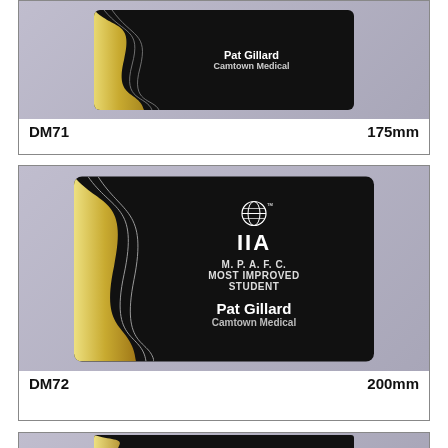[Figure (photo): Award plaque DM71 with black background and gold wave design, text reads Pat Gillard, Camtown Medical]
DM71    175mm
[Figure (photo): Award plaque DM72 with black background and gold wave design, IIA globe logo, text reads M.P.A.F.C. MOST IMPROVED STUDENT, Pat Gillard, Camtown Medical]
DM72    200mm
[Figure (photo): Bottom partial view of another award plaque, similar black and gold design]